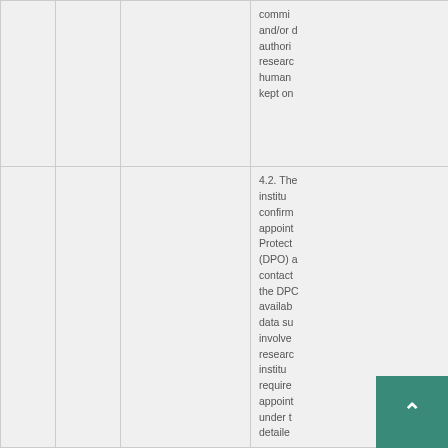|  |  |  | commi and/or authoris researc human kept on |
|  |  |  | 4.2. The institu confirm appoint Protect (DPO)a contact the DP availab data su involve researc institu require appoint under t detaile |